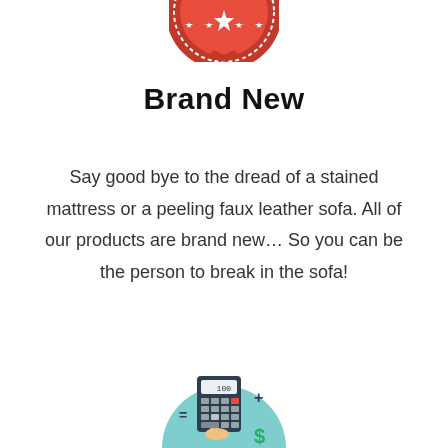[Figure (illustration): Partial red circular badge/stamp with white stars at the top of the page]
Brand New
Say good bye to the dread of a stained mattress or a peeling faux leather sofa. All of our products are brand new... So you can be the person to break in the sofa!
[Figure (illustration): Light blue circular icon showing a calculator with a hand pressing buttons and a dollar sign, partially visible at the bottom of the page]